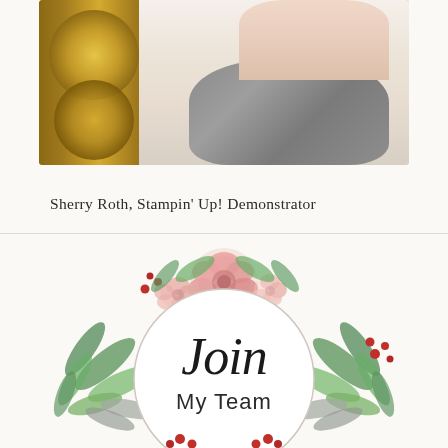[Figure (photo): Portrait photo of a woman wearing a gray scarf/cowl, partial face visible, standing near stacked firewood logs]
Sherry Roth, Stampin' Up! Demonstrator
[Figure (illustration): Floral wreath illustration with pink roses, greenery, and red berries surrounding a circle with text 'Join My Team' in stylized script and sans-serif fonts]